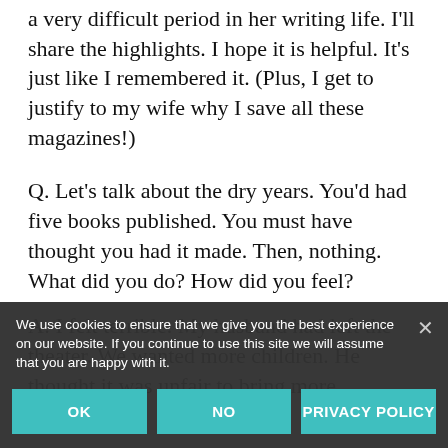1977 issue), during which she talked about a very difficult period in her writing life. I'll share the highlights. I hope it is helpful. It's just like I remembered it. (Plus, I get to justify to my wife why I save all these magazines!)
Q. Let's talk about the dry years. You'd had five books published. You must have thought you had it made. Then, nothing. What did you do? How did you feel?
A: I felt terrible. My husband had left the theater. We wanted more children. He thought it was unfair to bring more
We use cookies to ensure that we give you the best experience on our website. If you continue to use this site we will assume that you are happy with it.